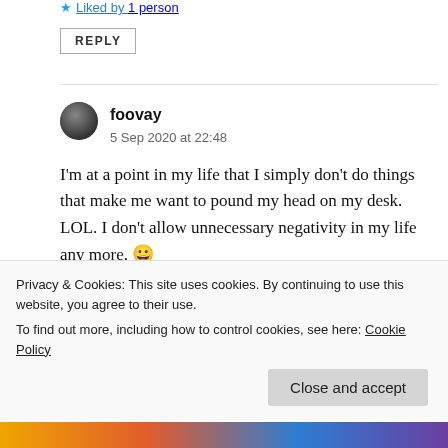Liked by 1 person
REPLY
foovay
5 Sep 2020 at 22:48
I'm at a point in my life that I simply don't do things that make me want to pound my head on my desk. LOL. I don't allow unnecessary negativity in my life any more. 😀
Privacy & Cookies: This site uses cookies. By continuing to use this website, you agree to their use.
To find out more, including how to control cookies, see here: Cookie Policy
Close and accept